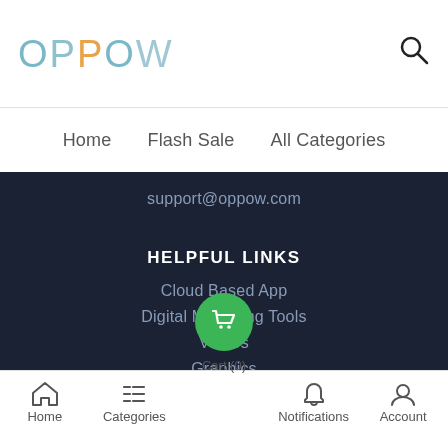OPPOW
Home   Flash Sale   All Categories
support@oppow.com
HELPFUL LINKS
Cloud Based App
Digital Marketing Tools
Videos
Graphics
Social Media Learning
Digital Marketing eBooks
Home   Categories   Cart (0)   Notifications   Account